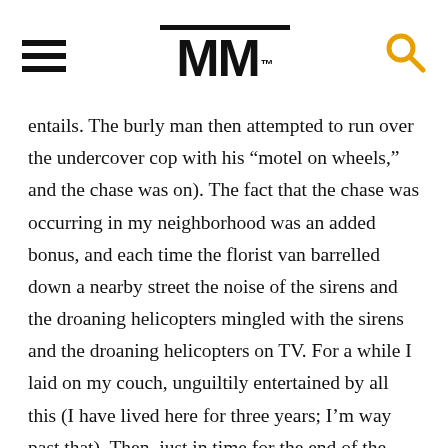MM
entails. The burly man then attempted to run over the undercover cop with his “motel on wheels,” and the chase was on). The fact that the chase was occurring in my neighborhood was an added bonus, and each time the florist van barrelled down a nearby street the noise of the sirens and the droaning helicopters mingled with the sirens and the droaning helicopters on TV. For a while I laid on my couch, unguiltily entertained by all this (I have lived here for three years; I’m way past that). Then, just in time for the end of the local news broadcast, the chase reached its frothy climax. The florist van veered onto the sidewalk at the MacArthur Park subway station and the burly man got out and started sprinting down Alvarado. You could see the point at which he lost his delusions of escape